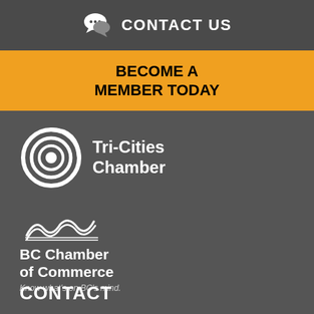CONTACT US
BECOME A MEMBER TODAY
[Figure (logo): Tri-Cities Chamber logo with circular swirl icon and text 'Tri-Cities Chamber']
[Figure (logo): BC Chamber of Commerce logo with mountain wave icon, text 'BC Chamber of Commerce' and tagline 'Know what's on BC's mind.']
CONTACT